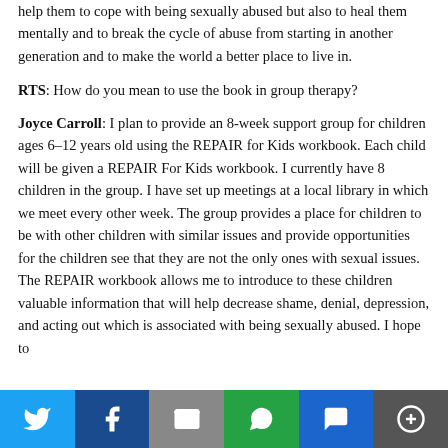help them to cope with being sexually abused but also to heal them mentally and to break the cycle of abuse from starting in another generation and to make the world a better place to live in.
RTS: How do you mean to use the book in group therapy?
Joyce Carroll: I plan to provide an 8-week support group for children ages 6–12 years old using the REPAIR for Kids workbook. Each child will be given a REPAIR For Kids workbook. I currently have 8 children in the group. I have set up meetings at a local library in which we meet every other week. The group provides a place for children to be with other children with similar issues and provide opportunities for the children see that they are not the only ones with sexual issues. The REPAIR workbook allows me to introduce to these children valuable information that will help decrease shame, denial, depression, and acting out which is associated with being sexually abused. I hope to
[Figure (infographic): Social sharing bar with icons for Twitter, Facebook, Email, WhatsApp, SMS, and More options]